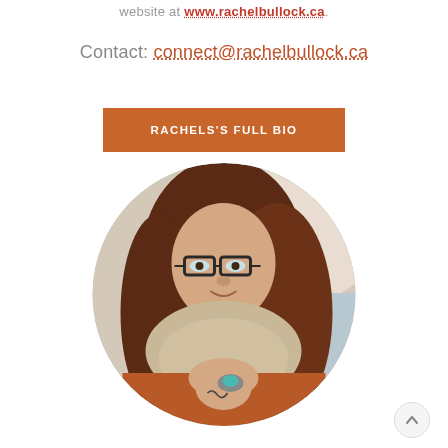website at www.rachelbullock.ca.
Contact: connect@rachelbullock.ca
RACHELS'S FULL BIO
[Figure (photo): Circular cropped portrait photo of a young woman with long wavy reddish-brown hair, wearing glasses, a knit scarf, and an orange/rust sweater, leaning forward and pointing toward the camera with a tattooed hand wearing a large turquoise ring. Background shows a blurred coastal/outdoor scene.]